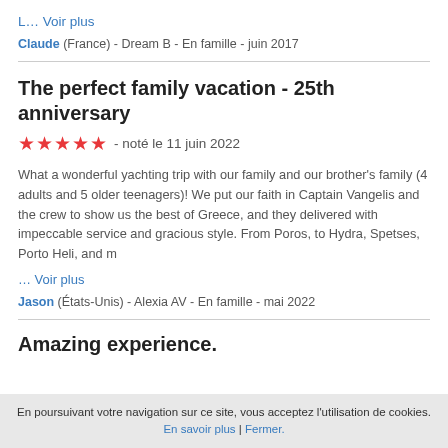L… Voir plus
Claude (France) - Dream B - En famille - juin 2017
The perfect family vacation - 25th anniversary
★★★★★ - noté le 11 juin 2022
What a wonderful yachting trip with our family and our brother's family (4 adults and 5 older teenagers)! We put our faith in Captain Vangelis and the crew to show us the best of Greece, and they delivered with impeccable service and gracious style. From Poros, to Hydra, Spetses, Porto Heli, and m
… Voir plus
Jason (Etats-Unis) - Alexia AV - En famille - mai 2022
Amazing experience.
En poursuivant votre navigation sur ce site, vous acceptez l'utilisation de cookies. En savoir plus | Fermer.